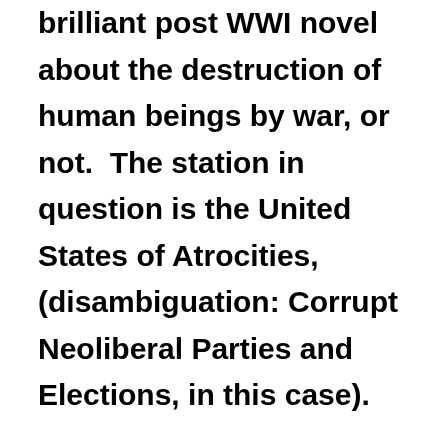brilliant post WWI novel about the destruction of human beings by war, or not.  The station in question is the United States of Atrocities, (disambiguation: Corrupt Neoliberal Parties and Elections, in this case). I had a plane ticket to Philadelphia which I had to cancel due to a bad slip